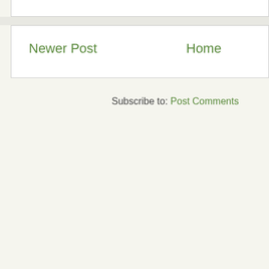Newer Post
Home
Subscribe to: Post Comments